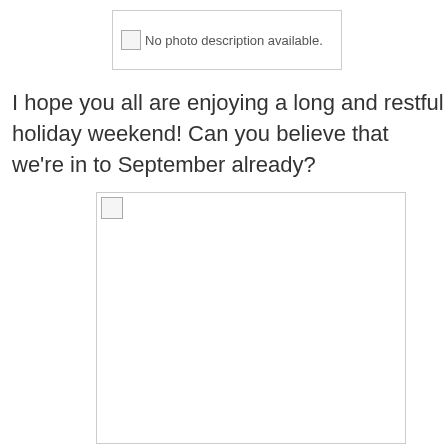[Figure (photo): Broken image placeholder at top: 'No photo description available.']
I hope you all are enjoying a long and restful holiday weekend! Can you believe that we're in to September already?
[Figure (photo): Broken/loading image placeholder, large rectangle with broken image icon in upper-left corner.]